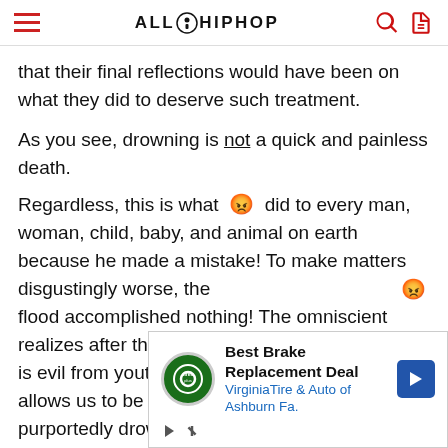AllHipHop navigation bar
that their final reflections would have been on what they did to deserve such treatment.
As you see, drowning is not a quick and painless death. Regardless, this is what [emoji] did to every man, woman, child, baby, and animal on earth because he made a mistake! To make matters disgustingly worse, the [emoji] flood accomplished nothing! The omniscient realizes after the flood that a man’s imagination is evil from youth (Genesis 8:21). He seemingly allows us to be evil to this day, just like those he purportedly drowned in the flood. Even if this was the sole
[Figure (other): Advertisement banner: Best Brake Replacement Deal - VirginiaTire & Auto of Ashburn Fa. with tire logo and blue arrow icon]